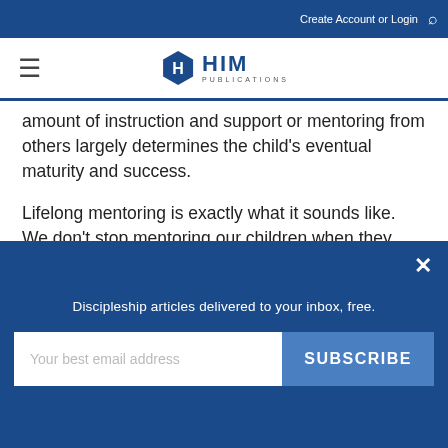Create Account or Login
[Figure (logo): HIM Publications logo with hexagon icon]
amount of instruction and support or mentoring from others largely determines the child's eventual maturity and success.
Lifelong mentoring is exactly what it sounds like. We don't stop mentoring our children when they become adults. Rather, we hope to foster the kind of relationship with our children where we can offer advice in the years ahead.
Fostering this type of future relationship begins by being a consistent mentor through our children's development.
Discipleship articles delivered to your inbox, free.